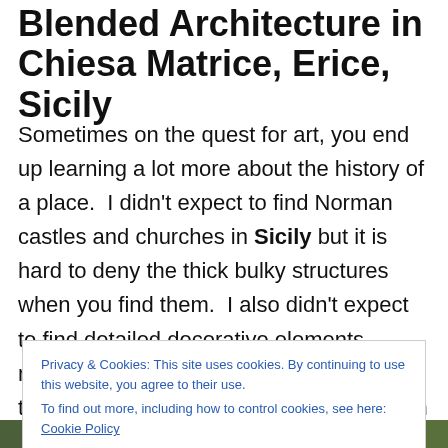Blended Architecture in Chiesa Matrice, Erice, Sicily
Sometimes on the quest for art, you end up learning a lot more about the history of a place. I didn't expect to find Norman castles and churches in Sicily but it is hard to deny the thick bulky structures when you find them. I also didn't expect to find detailed decorative elements reminiscent of the Middle East but there they were. What became Sicilian Norman art is a blend of cultures and adds an exotic flavor to an already interesting mix of Greco-Roman and Baroque architecture on the island.
Privacy & Cookies: This site uses cookies. By continuing to use this website, you agree to their use.
To find out more, including how to control cookies, see here: Cookie Policy
[Figure (photo): Bottom photo strip showing outdoor scenery]